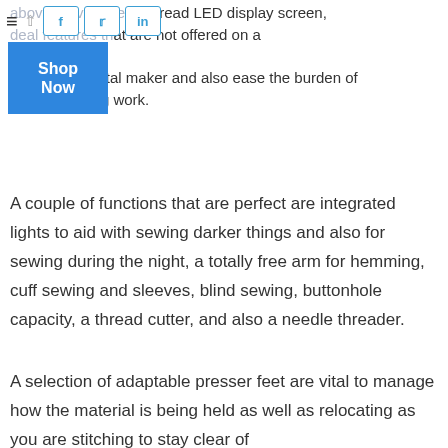above, have an easily read LED display screen, deal features that are not offered on a [Shop Now] tal maker and also ease the burden of tedious sewing work.
A couple of functions that are perfect are integrated lights to aid with sewing darker things and also for sewing during the night, a totally free arm for hemming, cuff sewing and sleeves, blind sewing, buttonhole capacity, a thread cutter, and also a needle threader.
A selection of adaptable presser feet are vital to manage how the material is being held as well as relocating as you are stitching to stay clear of